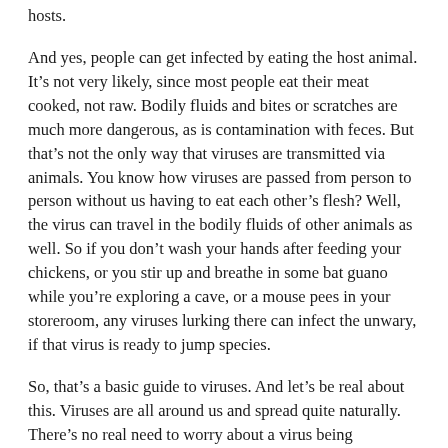hosts.
And yes, people can get infected by eating the host animal. It's not very likely, since most people eat their meat cooked, not raw. Bodily fluids and bites or scratches are much more dangerous, as is contamination with feces. But that's not the only way that viruses are transmitted via animals. You know how viruses are passed from person to person without us having to eat each other's flesh? Well, the virus can travel in the bodily fluids of other animals as well. So if you don't wash your hands after feeding your chickens, or you stir up and breathe in some bat guano while you're exploring a cave, or a mouse pees in your storeroom, any viruses lurking there can infect the unwary, if that virus is ready to jump species.
So, that's a basic guide to viruses. And let's be real about this. Viruses are all around us and spread quite naturally. There's no real need to worry about a virus being